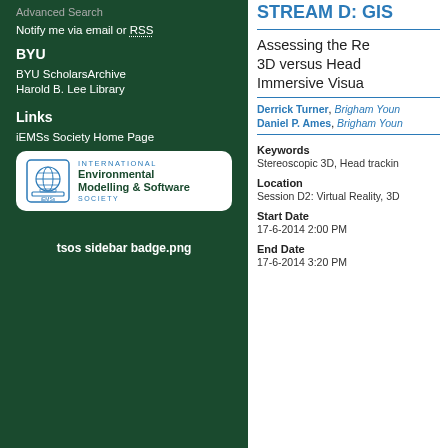Advanced Search
Notify me via email or RSS
BYU
BYU ScholarsArchive
Harold B. Lee Library
Links
iEMSs Society Home Page
[Figure (logo): International Environmental Modelling & Software Society (iEMSs) logo with globe icon]
tsos sidebar badge.png
STREAM D: GIS
Assessing the Re... 3D versus Head... Immersive Visua...
Derrick Turner, Brigham Youn...
Daniel P. Ames, Brigham Youn...
Keywords
Stereoscopic 3D, Head trackin...
Location
Session D2: Virtual Reality, 3D...
Start Date
17-6-2014 2:00 PM
End Date
17-6-2014 3:20 PM